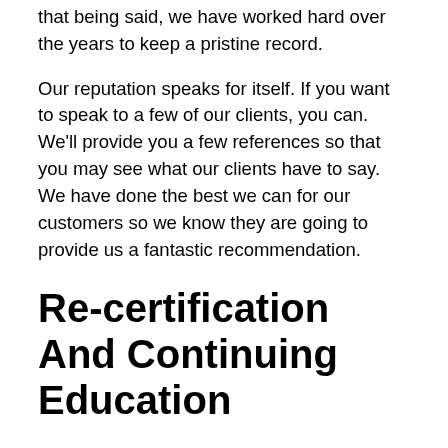that being said, we have worked hard over the years to keep a pristine record.
Our reputation speaks for itself. If you want to speak to a few of our clients, you can. We'll provide you a few references so that you may see what our clients have to say. We have done the best we can for our customers so we know they are going to provide us a fantastic recommendation.
Re-certification And Continuing Education
It doesn't matter if it is recessed lights or fan installation which you're coping with, things vary from year to year. And, this is just one of the main reasons our electrician techs have been needed to undergo re-